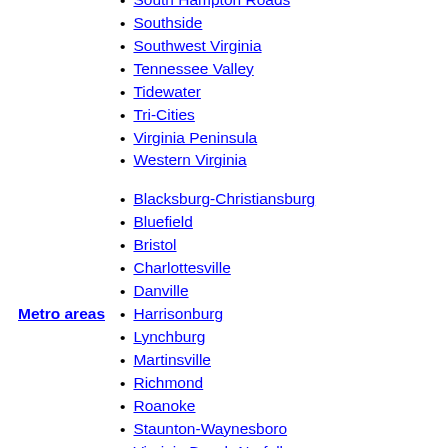South Hampton Roads
Southside
Southwest Virginia
Tennessee Valley
Tidewater
Tri-Cities
Virginia Peninsula
Western Virginia
Metro areas
Blacksburg-Christiansburg
Bluefield
Bristol
Charlottesville
Danville
Harrisonburg
Lynchburg
Martinsville
Richmond
Roanoke
Staunton-Waynesboro
Virginia Beach-Norfolk-Newport News
Washington-Arlington-Alexandria
Winchester